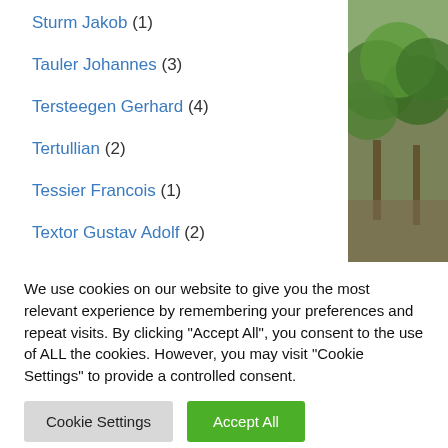Sturm Jakob (1)
Tauler Johannes (3)
Tersteegen Gerhard (4)
Tertullian (2)
Tessier Francois (1)
Textor Gustav Adolf (2)
Theremin Franz (1)
Thiersch Heinrich Wilhelm Josias (3)
Tholuck August (5)
We use cookies on our website to give you the most relevant experience by remembering your preferences and repeat visits. By clicking “Accept All”, you consent to the use of ALL the cookies. However, you may visit "Cookie Settings" to provide a controlled consent.